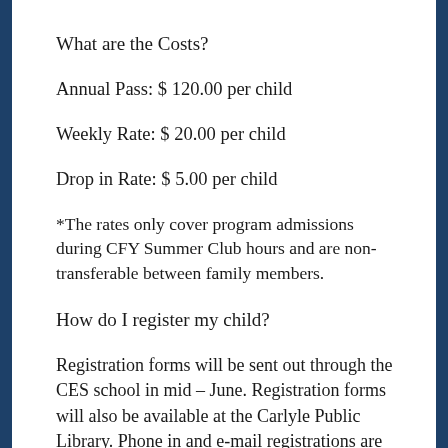What are the Costs?
Annual Pass: $ 120.00 per child
Weekly Rate: $ 20.00 per child
Drop in Rate: $ 5.00 per child
*The rates only cover program admissions during CFY Summer Club hours and are non-transferable between family members.
How do I register my child?
Registration forms will be sent out through the CES school in mid – June. Registration forms will also be available at the Carlyle Public Library. Phone in and e-mail registrations are